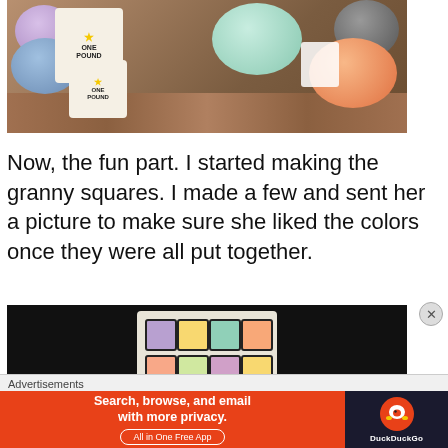[Figure (photo): Photo of multiple skeins of yarn in various colors (lavender, blue, mint, gray, orange) on a wooden floor surface, with Lion Brand One Pound labels visible]
Now, the fun part. I started making the granny squares. I made a few and sent her a picture to make sure she liked the colors once they were all put together.
[Figure (photo): Photo of crocheted granny squares laid out on a dark background, showing colorful squares with pastel colors and dark border]
Advertisements
[Figure (screenshot): DuckDuckGo advertisement banner: 'Search, browse, and email with more privacy. All in One Free App' with DuckDuckGo logo on orange and dark background]